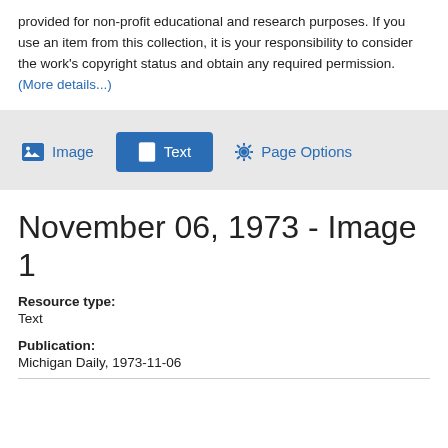provided for non-profit educational and research purposes. If you use an item from this collection, it is your responsibility to consider the work's copyright status and obtain any required permission. (More details...)
[Figure (screenshot): Toolbar with three buttons: Image, Text (active/selected, blue background), and Page Options]
November 06, 1973 - Image 1
Resource type: Text
Publication: Michigan Daily, 1973-11-06